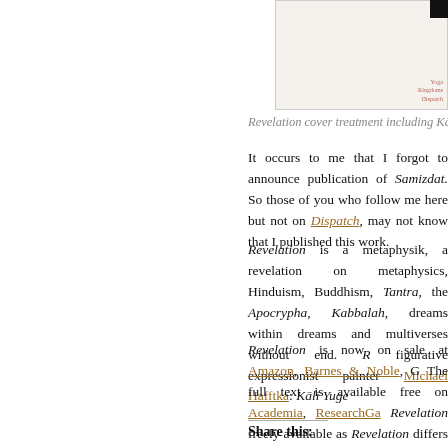[Figure (illustration): Revelation cover treatment showing small text listing Yoga, Kingdoms, Dispatch on a beige background with black bar in corner]
Revelation cover treatment including Kālī Yuga, 1977
It occurs to me that I forgot to announce publication of Samizdat. So those of you who follow me here but not on Dispatch, may not know that I published this work.
Revelation is a metaphysik, a revelation on metaphysics, Hinduism, Buddhism, Tantra, the Apocrypha, Kabbalah, dreams within dreams and multiverses without end. R figurative expressionist painter Michael Hafftka: Kālī Yuge
Revelation is now on sale at Amazon, Barnes & Noble, G The full text is available free on Academia, ResearchGa Revelation freely available as Revelation differs from Grenada Raiders: it steps outside that narrative. Indeed, this entry »
Share this: